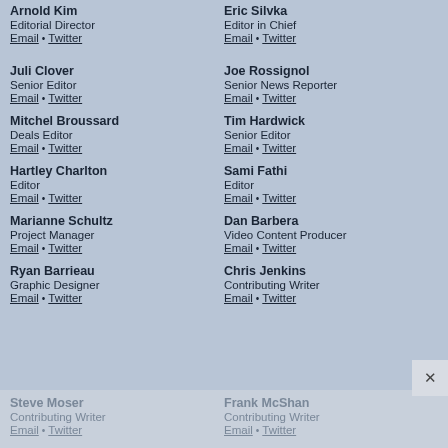Arnold Kim
Editorial Director
Email • Twitter
Eric Silvka
Editor in Chief
Email • Twitter
Juli Clover
Senior Editor
Email • Twitter
Joe Rossignol
Senior News Reporter
Email • Twitter
Mitchel Broussard
Deals Editor
Email • Twitter
Tim Hardwick
Senior Editor
Email • Twitter
Hartley Charlton
Editor
Email • Twitter
Sami Fathi
Editor
Email • Twitter
Marianne Schultz
Project Manager
Email • Twitter
Dan Barbera
Video Content Producer
Email • Twitter
Ryan Barrieau
Graphic Designer
Email • Twitter
Chris Jenkins
Contributing Writer
Email • Twitter
Steve Moser
Contributing Writer
Email • Twitter
Frank McShan
Contributing Writer
Email • Twitter